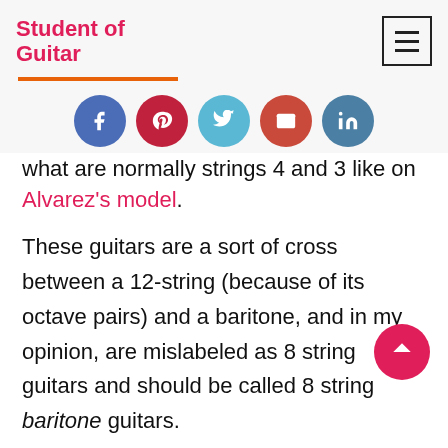Student of Guitar
[Figure (other): Social sharing icons row: Facebook, Pinterest, Twitter, Email, LinkedIn]
what are normally strings 4 and 3 like on Alvarez's model.
These guitars are a sort of cross between a 12-string (because of its octave pairs) and a baritone, and in my opinion, are mislabeled as 8 string guitars and should be called 8 string baritone guitars.
Baritone Guitar Vs 8 String: Tuning